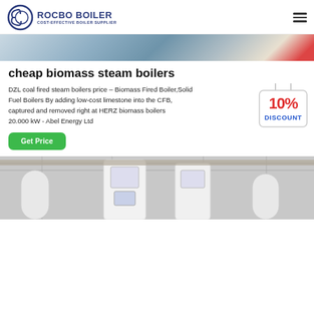[Figure (logo): Rocbo Boiler logo with circular emblem and text: ROCBO BOILER, COST-EFFECTIVE BOILER SUPPLIER]
[Figure (photo): Top cropped industrial photo showing boiler or industrial equipment with blue/grey tones and red accent]
cheap biomass steam boilers
DZL coal fired steam boilers price – Biomass Fired Boiler,Solid Fuel Boilers By adding low-cost limestone into the CFB, captured and removed right at HERZ biomass boilers 20.000 kW - Abel Energy Ltd
[Figure (infographic): 10% DISCOUNT badge in red and blue text on a hanging sign shape]
[Figure (photo): Bottom industrial photo showing large white boiler units in a factory/warehouse setting with steel structure overhead]